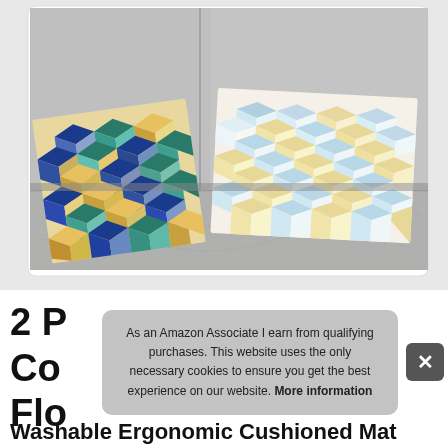[Figure (photo): Two geometric patterned floor mats/rugs with cube 3D illusion designs in blue, teal, yellow and white colors, photographed on a gray marble floor in a corner setting. One mat has darker blue and gold tones, the other is lighter with white background and gold grid pattern.]
2 P
Co
Flo
Washable Ergonomic Cushioned Mat
As an Amazon Associate I earn from qualifying purchases. This website uses the only necessary cookies to ensure you get the best experience on our website. More information